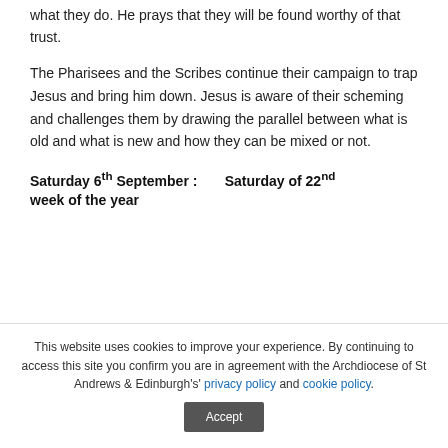what they do. He prays that they will be found worthy of that trust.
The Pharisees and the Scribes continue their campaign to trap Jesus and bring him down. Jesus is aware of their scheming and challenges them by drawing the parallel between what is old and what is new and how they can be mixed or not.
Saturday 6th September :       Saturday of 22nd week of the year
This website uses cookies to improve your experience. By continuing to access this site you confirm you are in agreement with the Archdiocese of St Andrews & Edinburgh's' privacy policy and cookie policy.